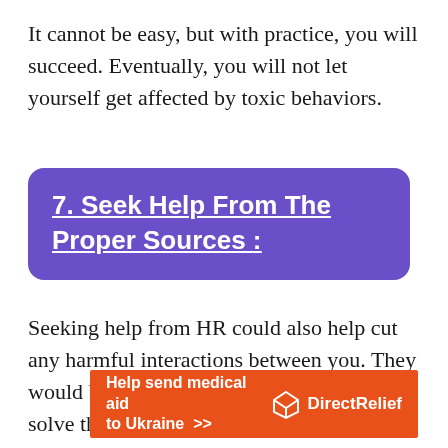It cannot be easy, but with practice, you will succeed. Eventually, you will not let yourself get affected by toxic behaviors.
7. Seek Help From The Proper Sources :
Seeking help from HR could also help cut any harmful interactions between you. They would be more informed on how best to solve this problem.
[Figure (infographic): Orange banner advertisement: 'Help send medical aid to Ukraine >>' with DirectRelief logo on the right]